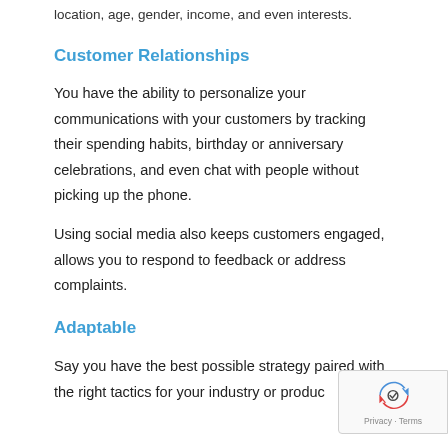location, age, gender, income, and even interests.
Customer Relationships
You have the ability to personalize your communications with your customers by tracking their spending habits, birthday or anniversary celebrations, and even chat with people without picking up the phone.
Using social media also keeps customers engaged, allows you to respond to feedback or address complaints.
Adaptable
Say you have the best possible strategy paired with the right tactics for your industry or product,